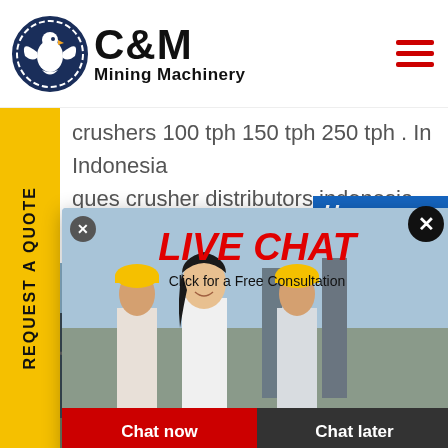[Figure (logo): C&M Mining Machinery logo with eagle/gear icon in dark blue, company name in bold black text]
crushers 100 tph 150 tph 250 tph . In Indonesia ques crusher distributors indonesia Stone shers Jo
[Figure (photo): Live Chat popup overlay showing workers in yellow hard hats with LIVE CHAT heading and consultation offer, Chat now (red) and Chat later (dark) buttons]
[Figure (photo): Customer service representative with headset smiling, Click to Chat panel and Enquiry bar on right side]
[Figure (photo): Industrial mining/crushing plant in background at bottom of page]